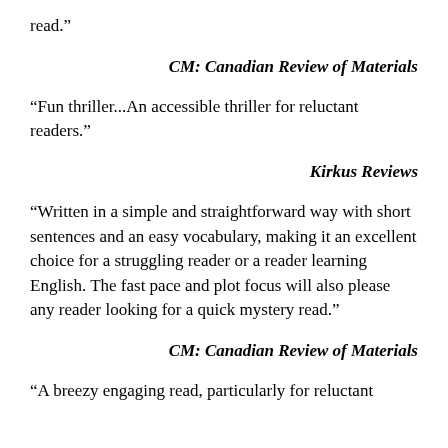read.”
CM: Canadian Review of Materials
"Fun thriller...An accessible thriller for reluctant readers."
Kirkus Reviews
“Written in a simple and straightforward way with short sentences and an easy vocabulary, making it an excellent choice for a struggling reader or a reader learning English. The fast pace and plot focus will also please any reader looking for a quick mystery read.”
CM: Canadian Review of Materials
“A breezy engaging read, particularly for reluctant